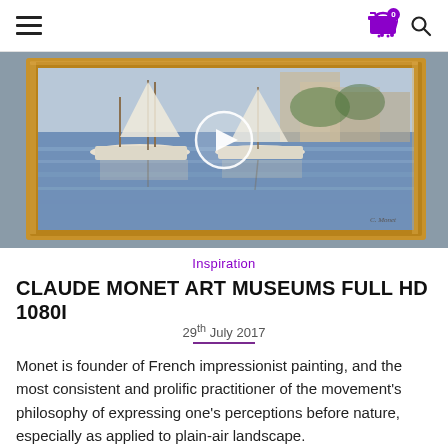Navigation bar with hamburger menu and cart/search icons
[Figure (photo): A framed impressionist painting showing sailboats on water, displayed in a museum setting with a video play button overlay. The painting appears to be by Claude Monet featuring white boats and blue reflective water.]
Inspiration
CLAUDE MONET ART MUSEUMS FULL HD 1080I
29th July 2017
Monet is founder of French impressionist painting, and the most consistent and prolific practitioner of the movement's philosophy of expressing one's perceptions before nature, especially as applied to plain-air landscape.